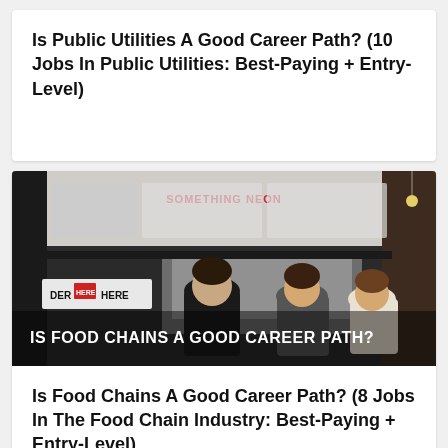Is Public Utilities A Good Career Path? (10 Jobs In Public Utilities: Best-Paying + Entry-Level)
[Figure (photo): Interior of a food chain restaurant counter with workers visible from behind, 'ORDER HERE' sign on left, red neon sign in background. Text overlay reads IS FOOD CHAINS A GOOD CAREER PATH?]
Is Food Chains A Good Career Path? (8 Jobs In The Food Chain Industry: Best-Paying + Entry-Level)